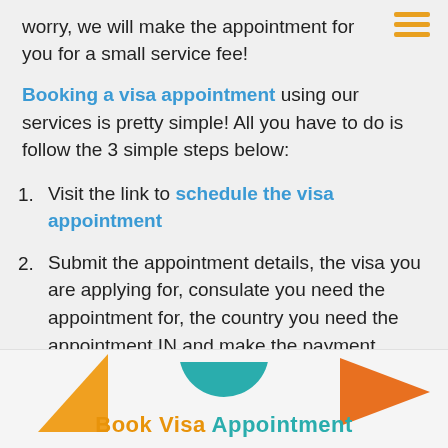worry, we will make the appointment for you for a small service fee!
Booking a visa appointment using our services is pretty simple! All you have to do is follow the 3 simple steps below:
1. Visit the link to schedule the visa appointment
2. Submit the appointment details, the visa you are applying for, consulate you need the appointment for, the country you need the appointment IN and make the payment
3. Receive appointment confirmation in email
[Figure (illustration): Bottom banner with orange triangle left, teal semicircle center, orange triangle right, and text 'Book Visa Appointment' in orange and teal colors]